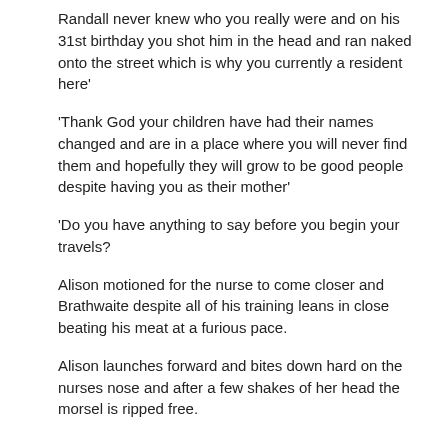Randall never knew who you really were and on his 31st birthday you shot him in the head and ran naked onto the street which is why you currently a resident here'
'Thank God your children have had their names changed and are in a place where you will never find them and hopefully they will grow to be good people despite having you as their mother'
'Do you have anything to say before you begin your travels?
Alison motioned for the nurse to come closer and Brathwaite despite all of his training leans in close beating his meat at a furious pace.
Alison launches forward and bites down hard on the nurses nose and after a few shakes of her head the morsel is ripped free.